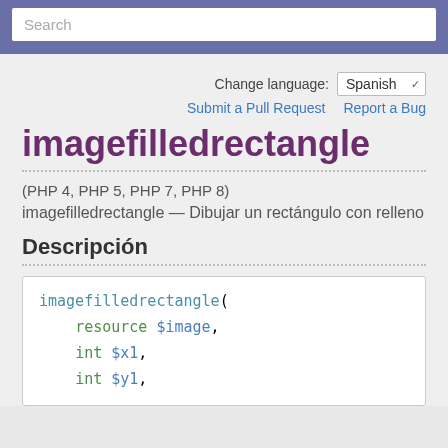Search
Change language: Spanish
Submit a Pull Request   Report a Bug
imagefilledrectangle
(PHP 4, PHP 5, PHP 7, PHP 8)
imagefilledrectangle — Dibujar un rectángulo con relleno
Descripción
imagefilledrectangle(
    resource $image,
    int $x1,
    int $y1,